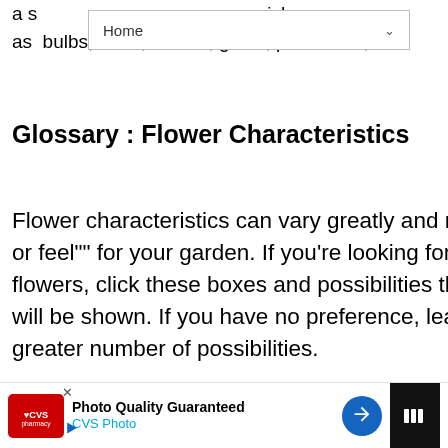a s... ...ich as bulbs, trees, shrubs, grass, perennials, etc.
Glossary : Flower Characteristics
Flower characteristics can vary greatly and may help you decide on a ""look or feel"" for your garden. If you're looking for fragrance or large, showy flowers, click these boxes and possibilities that fit your cultural conditions will be shown. If you have no preference, leave boxes unchecked to return a greater number of possibilities.
Glossary : Foliage Characteristics